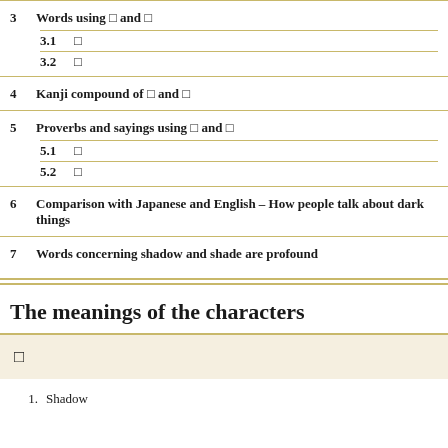3  Words using □ and □
3.1  □
3.2  □
4  Kanji compound of □ and □
5  Proverbs and sayings using □ and □
5.1  □
5.2  □
6  Comparison with Japanese and English – How people talk about dark things
7  Words concerning shadow and shade are profound
The meanings of the characters
□
1.  Shadow